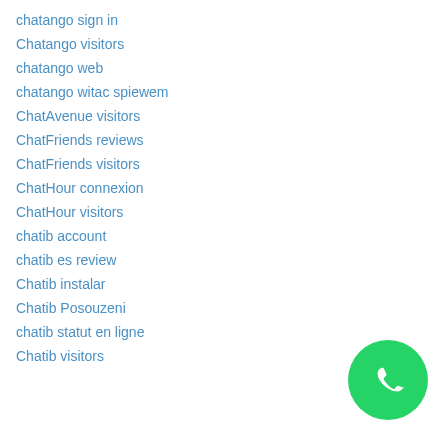chatango sign in
Chatango visitors
chatango web
chatango witac spiewem
ChatAvenue visitors
ChatFriends reviews
ChatFriends visitors
ChatHour connexion
ChatHour visitors
chatib account
chatib es review
Chatib instalar
Chatib Posouzeni
chatib statut en ligne
Chatib visitors
[Figure (logo): WhatsApp logo: green circle with white phone/chat icon]